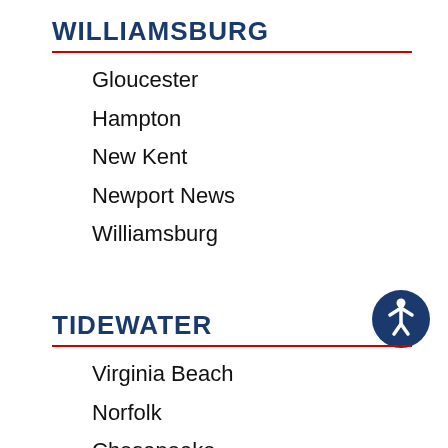WILLIAMSBURG
Gloucester
Hampton
New Kent
Newport News
Williamsburg
[Figure (illustration): Accessibility icon: white wheelchair user figure in a dark blue circle]
TIDEWATER
Virginia Beach
Norfolk
Chesapeake